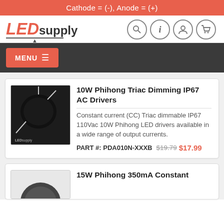Cathode = (-), Anode = (+)
[Figure (logo): LEDsupply logo with red italic LED and gray supply text]
[Figure (other): Navigation icons: search, info, account, cart]
MENU ≡
[Figure (photo): 10W Phihong Triac Dimming IP67 AC Driver product photo showing black round electronic component with wires]
10W Phihong Triac Dimming IP67 AC Drivers
Constant current (CC) Triac dimmable IP67 110Vac 10W Phihong LED drivers available in a wide range of output currents.
PART #: PDA010N-XXXB
$19.79 $17.99
[Figure (photo): 15W Phihong 350mA Constant product thumbnail (partially visible)]
15W Phihong 350mA Constant